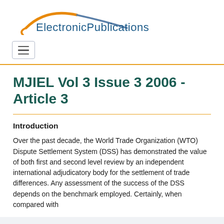ElectronicPublications
MJIEL Vol 3 Issue 3 2006 - Article 3
Introduction
Over the past decade, the World Trade Organization (WTO) Dispute Settlement System (DSS) has demonstrated the value of both first and second level review by an independent international adjudicatory body for the settlement of trade differences. Any assessment of the success of the DSS depends on the benchmark employed. Certainly, when compared with